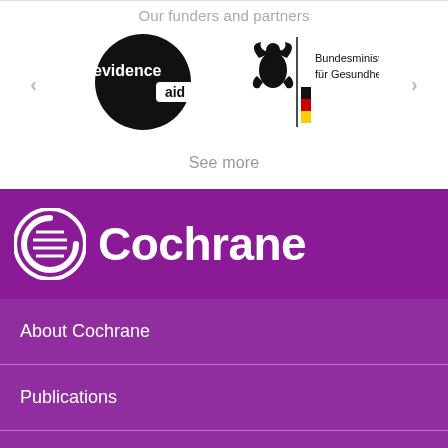Our funders and partners
[Figure (logo): EvidenceAid logo - black circle with white text 'evidence aid']
[Figure (logo): Bundesministerium für Gesundheit logo with German eagle and flag stripe]
See more
[Figure (logo): Cochrane logo - circular icon with horizontal lines and the word 'Cochrane' in white on purple background]
About Cochrane
Publications
Community